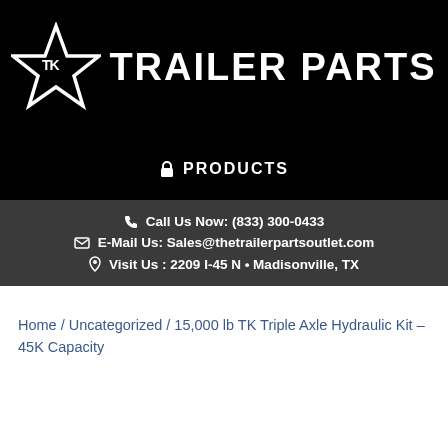[Figure (logo): TK Trailer Parts logo — white star with TK monogram inside, followed by bold white text TRAILER PARTS on black background]
🔒 PRODUCTS
📞 Call Us Now: (833) 300-0433
✉ E-Mail Us: Sales@thetrailerpartsoutlet.com
📍 Visit Us : 2209 I-45 N • Madisonville, TX
Home / Uncategorized / 15,000 lb TK Triple Axle Hydraulic Kit – 45K Capacity